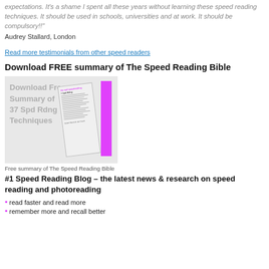expectations. It's a shame I spent all these years without learning these speed reading techniques. It should be used in schools, universities and at work. It should be compulsory!!"
Audrey Stallard, London
Read more testimonials from other speed readers
Download FREE summary of The Speed Reading Bible
[Figure (illustration): Book graphic showing 'Download Free Summary of 37 Spd Rdng Techniques' with a book cover featuring a pink spine and pages with text lines.]
Free summary of The Speed Reading Bible
#1 Speed Reading Blog – the latest news & research on speed reading and photoreading
read faster and read more
remember more and recall better